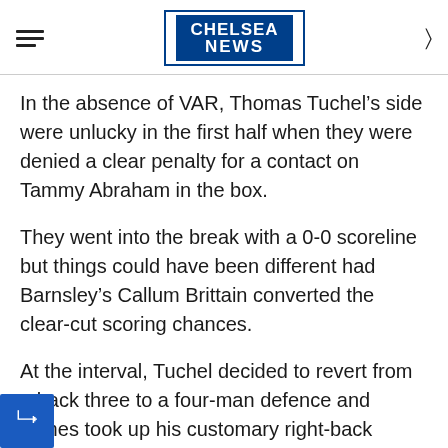CHELSEA NEWS
In the absence of VAR, Thomas Tuchel’s side were unlucky in the first half when they were denied a clear penalty for a contact on Tammy Abraham in the box.
They went into the break with a 0-0 scoreline but things could have been different had Barnsley’s Callum Brittain converted the clear-cut scoring chances.
At the interval, Tuchel decided to revert from a back three to a four-man defence and James took up his customary right-back position coming off the bench.